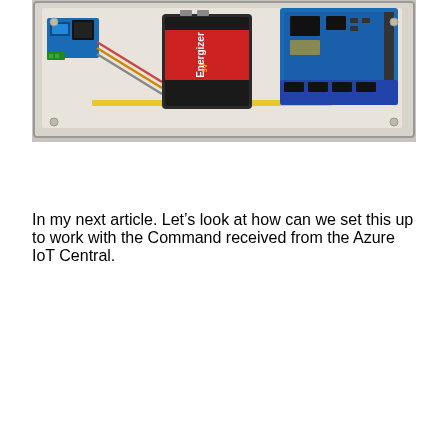[Figure (photo): Photo of an electronic hardware assembly inside a clear plastic enclosure. Contains an Energizer 9V battery, a blue relay/sensor module on the left, an Arduino or similar microcontroller board on the right with pin headers and connectors, and various wires connecting the components. The enclosure sits on a light gray surface.]
In my next article. Let’s look at how can we set this up to work with the Command received from the Azure IoT Central.